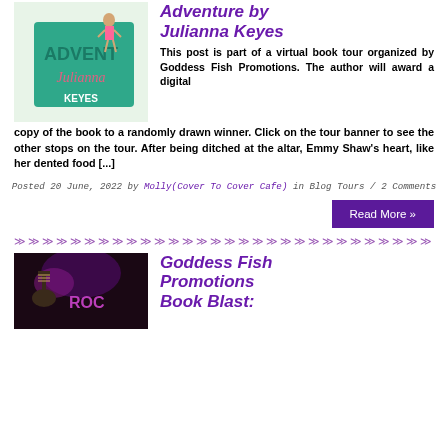[Figure (illustration): Book cover for 'Adventure' by Julianna Keyes, showing a woman in a bikini on a beach with teal lettering]
Adventure by Julianna Keyes
This post is part of a virtual book tour organized by Goddess Fish Promotions. The author will award a digital copy of the book to a randomly drawn winner. Click on the tour banner to see the other stops on the tour. After being ditched at the altar, Emmy Shaw's heart, like her dented food [...]
Posted 20 June, 2022 by Molly(Cover To Cover Cafe) in Blog Tours / 2 Comments
Read More »
[Figure (illustration): Book cover or promotional image showing a person playing guitar on stage with purple/pink neon lighting and 'ROCK' text visible]
Goddess Fish Promotions Book Blast: